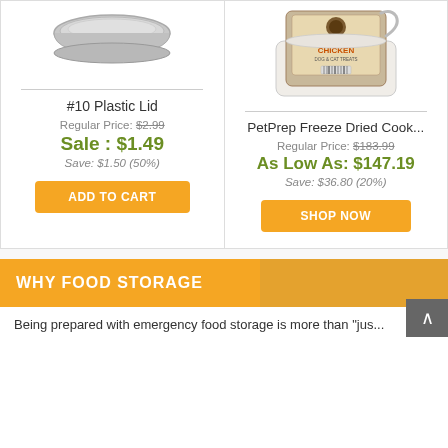[Figure (photo): Product image of #10 Plastic Lid - grey circular lid]
#10 Plastic Lid
Regular Price: $2.99
Sale : $1.49
Save: $1.50 (50%)
ADD TO CART
[Figure (photo): Product image of PetPrep Freeze Dried Cooked Chicken dog & cat treats in a white container]
PetPrep Freeze Dried Cook...
Regular Price: $183.99
As Low As: $147.19
Save: $36.80 (20%)
SHOP NOW
WHY FOOD STORAGE
Being prepared with emergency food storage is more than "jus...